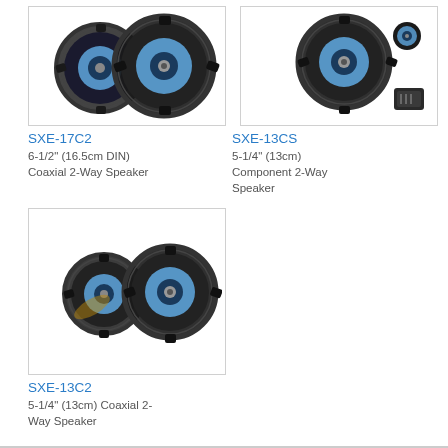[Figure (photo): Alpine SXE-17C2 6-1/2 inch coaxial speaker product photo showing two speaker units]
[Figure (photo): Alpine SXE-13CS 5-1/4 inch component speaker system product photo showing woofer, tweeter and crossover]
SXE-17C2
6-1/2" (16.5cm DIN) Coaxial 2-Way Speaker
SXE-13CS
5-1/4" (13cm) Component 2-Way Speaker
[Figure (photo): Alpine SXE-13C2 5-1/4 inch coaxial speaker product photo showing two speaker units]
SXE-13C2
5-1/4" (13cm) Coaxial 2-Way Speaker